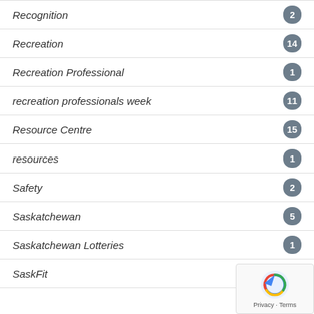Recognition
Recreation
Recreation Professional
recreation professionals week
Resource Centre
resources
Safety
Saskatchewan
Saskatchewan Lotteries
SaskFit